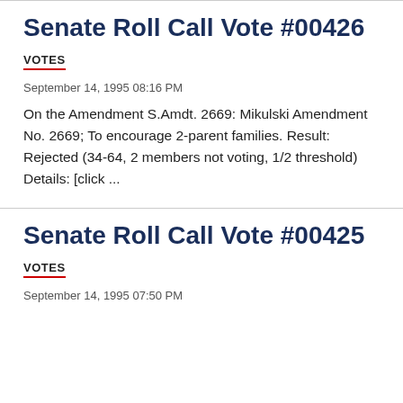Senate Roll Call Vote #00426
VOTES
September 14, 1995 08:16 PM
On the Amendment S.Amdt. 2669: Mikulski Amendment No. 2669; To encourage 2-parent families. Result: Rejected (34-64, 2 members not voting, 1/2 threshold) Details: [click ...
Senate Roll Call Vote #00425
VOTES
September 14, 1995 07:50 PM